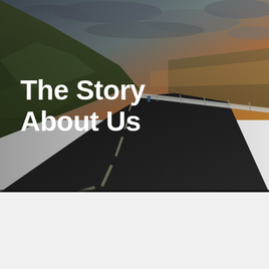[Figure (photo): A winding coastal road with a guardrail, grassy hillside on the left, and a dramatic sky with warm golden-orange tones on the right. A lone person stands on the road near the center. The scene is moody and atmospheric.]
The Story About Us